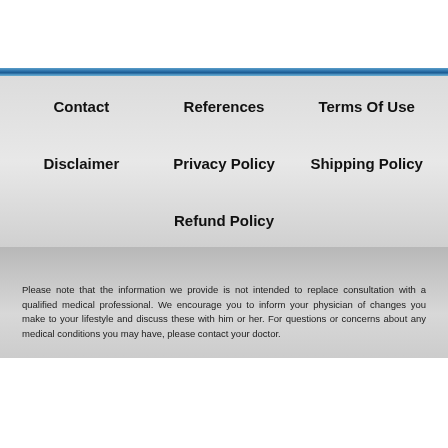Contact
References
Terms Of Use
Disclaimer
Privacy Policy
Shipping Policy
Refund Policy
Please note that the information we provide is not intended to replace consultation with a qualified medical professional. We encourage you to inform your physician of changes you make to your lifestyle and discuss these with him or her. For questions or concerns about any medical conditions you may have, please contact your doctor.